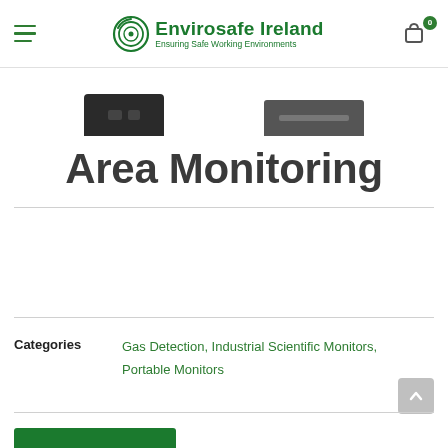Envirosafe Ireland — Ensuring Safe Working Environments
[Figure (photo): Partial product images showing gas detection monitors cropped at top]
Area Monitoring
Categories: Gas Detection, Industrial Scientific Monitors, Portable Monitors